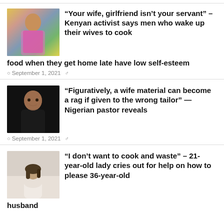“Your wife, girlfriend isn’t your servant” – Kenyan activist says men who wake up their wives to cook food when they get home late have low self-esteem
September 1, 2021
“Figuratively, a wife material can become a rag if given to the wrong tailor” — Nigerian pastor reveals
September 1, 2021
“I don’t want to cook and waste” – 21-year-old lady cries out for help on how to please 36-year-old husband